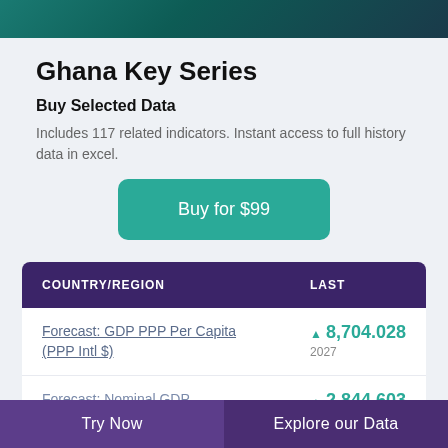[Figure (photo): Teal/dark teal gradient header image banner]
Ghana Key Series
Buy Selected Data
Includes 117 related indicators. Instant access to full history data in excel.
Buy for $99
| COUNTRY/REGION | LAST |
| --- | --- |
| Forecast: GDP PPP Per Capita (PPP Intl $) | ▲ 8,704.028
2027 |
| Forecast: Nominal GDP | ▲ 2,844.603 |
Try Now    Explore our Data